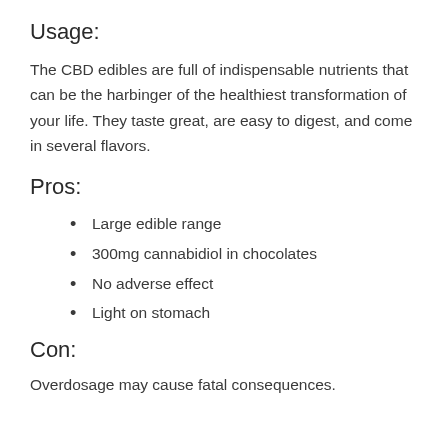Usage:
The CBD edibles are full of indispensable nutrients that can be the harbinger of the healthiest transformation of your life. They taste great, are easy to digest, and come in several flavors.
Pros:
Large edible range
300mg cannabidiol in chocolates
No adverse effect
Light on stomach
Con:
Overdosage may cause fatal consequences.